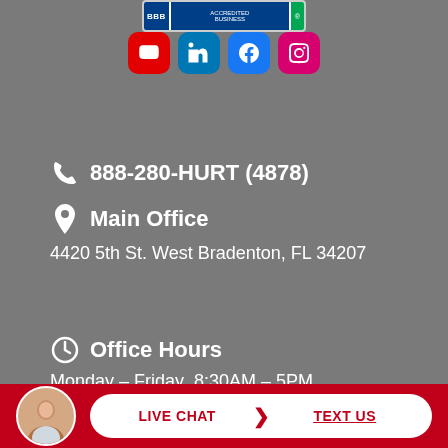[Figure (logo): BBB Accredited Business logo banner]
[Figure (illustration): Row of social media icons: YouTube (red), LinkedIn (blue), Facebook (blue), Instagram (pink/magenta)]
888-280-HURT (4878)
Main Office
4420 5th St. West Bradenton, FL 34207
Office Hours
Monday – Friday  8:30AM – 5PM
LIVE CHAT  TEXT US